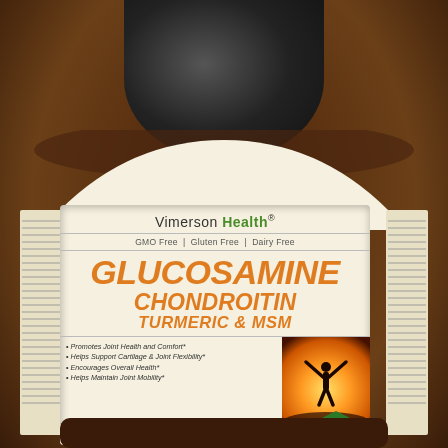[Figure (photo): A brown amber supplement bottle with black cap containing Glucosamine Chondroitin Turmeric & MSM capsules by Vimerson Health. The label shows the product name in large orange italic text, bullet point benefits, a person silhouette image with arms raised in celebration, and bottom details showing 90 capsules and 30 day supply badge.]